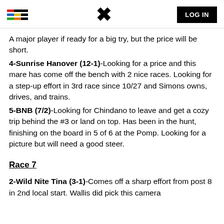LOG IN
A major player if ready for a big try, but the price will be short.
4-Sunrise Hanover (12-1)-Looking for a price and this mare has come off the bench with 2 nice races. Looking for a step-up effort in 3rd race since 10/27 and Simons owns, drives, and trains.
5-BNB (7/2)-Looking for Chindano to leave and get a cozy trip behind the #3 or land on top. Has been in the hunt, finishing on the board in 5 of 6 at the Pomp. Looking for a picture but will need a good steer.
Race 7
2-Wild Nite Tina (3-1)-Comes off a sharp effort from post 8 in 2nd local start. Wallis did pick this camera